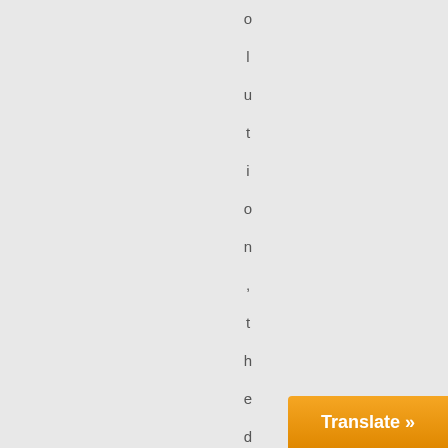olution, the dissolved res
[Figure (other): Orange 'Translate »' button in bottom-right corner]